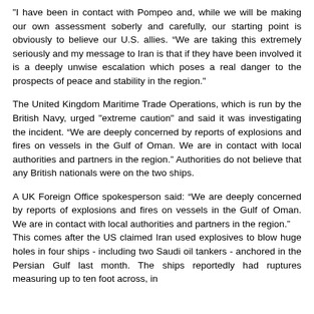"I have been in contact with Pompeo and, while we will be making our own assessment soberly and carefully, our starting point is obviously to believe our U.S. allies. “We are taking this extremely seriously and my message to Iran is that if they have been involved it is a deeply unwise escalation which poses a real danger to the prospects of peace and stability in the region."
The United Kingdom Maritime Trade Operations, which is run by the British Navy, urged "extreme caution" and said it was investigating the incident. “We are deeply concerned by reports of explosions and fires on vessels in the Gulf of Oman. We are in contact with local authorities and partners in the region.” Authorities do not believe that any British nationals were on the two ships.
A UK Foreign Office spokesperson said: “We are deeply concerned by reports of explosions and fires on vessels in the Gulf of Oman. We are in contact with local authorities and partners in the region.”
This comes after the US claimed Iran used explosives to blow huge holes in four ships - including two Saudi oil tankers - anchored in the Persian Gulf last month. The ships reportedly had ruptures measuring up to ten foot across, in